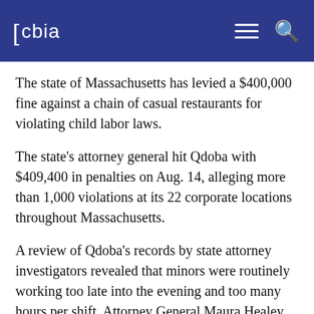cbia
The state of Massachusetts has levied a $400,000 fine against a chain of casual restaurants for violating child labor laws.
The state's attorney general hit Qdoba with $409,400 in penalties on Aug. 14, alleging more than 1,000 violations at its 22 corporate locations throughout Massachusetts.
A review of Qdoba's records by state attorney investigators revealed that minors were routinely working too late into the evening and too many hours per shift, Attorney General Maura Healey said.
The investigation began in March 2018 after...